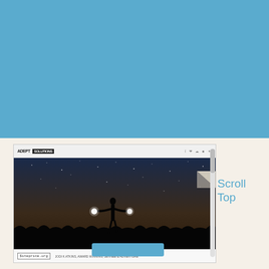[Figure (screenshot): A screenshot of a website (ADEPT) showing a night photography image of a silhouetted person with arms outstretched holding glowing lights against a starry sky background. The screenshot includes a browser-style top bar with the site logo and social icons, a siteprice.org badge, and a blue button at the bottom.]
Scroll Top